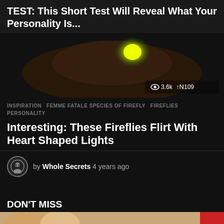TEST: This Short Test Will Reveal What Your Personality Is...
[Figure (photo): Dark blurry image with a glowing yellow-green orb/light in center, with view count 3.6k and share count 109 overlaid.]
INSPIRATION   FEMME FATALE SPECIES OF FIREFLY   FIREFLIES   PERSONALITY
Interesting: These Fireflies Flirt With Heart Shaped Lights
by Whole Secrets 4 years ago
DON'T MISS
[Figure (photo): Close-up photo of a baby or young child, partially visible at the bottom of the page.]